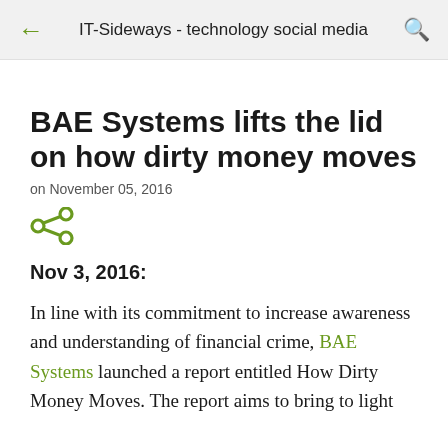IT-Sideways - technology social media
BAE Systems lifts the lid on how dirty money moves
on November 05, 2016
[Figure (illustration): Green share icon]
Nov 3, 2016:
In line with its commitment to increase awareness and understanding of financial crime, BAE Systems launched a report entitled How Dirty Money Moves. The report aims to bring to light